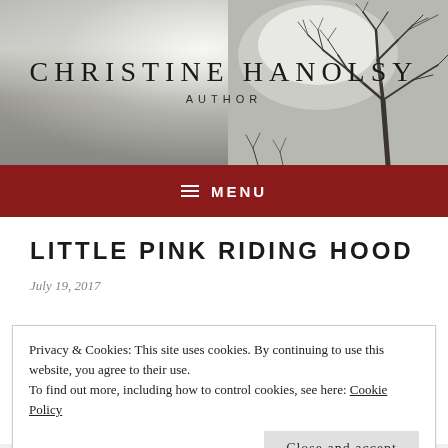[Figure (photo): Website header banner: misty winter landscape with bare trees in fog, light source visible in upper center. Dark branching tree on right side.]
CHRISTINE HANOLSY
AUTHOR
≡  MENU
LITTLE PINK RIDING HOOD
July 19, 2017
Privacy & Cookies: This site uses cookies. By continuing to use this website, you agree to their use.
To find out more, including how to control cookies, see here: Cookie Policy
Close and accept